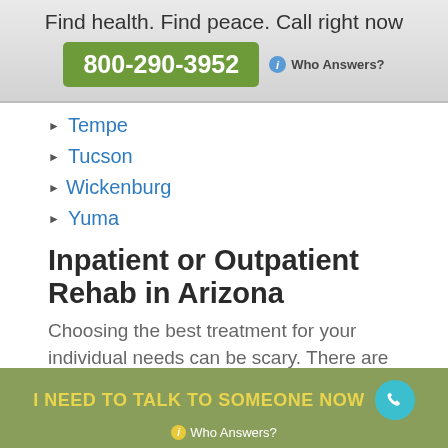Find health. Find peace. Call right now
800-290-3952 ℹ Who Answers?
Tempe
Tucson
Wickenburg
Yuma
Inpatient or Outpatient Rehab in Arizona
Choosing the best treatment for your individual needs can be scary. There are many holistic
I NEED TO TALK TO SOMEONE NOW ℹ Who Answers?